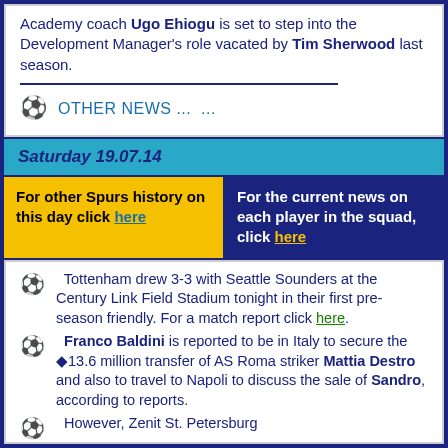Academy coach Ugo Ehiogu is set to step into the Development Manager's role vacated by Tim Sherwood last season.
OTHER NEWS ... ...
Saturday 19.07.14
For other Spurs history on this day click here
For the current news on each player in the squad, click here
Tottenham drew 3-3 with Seattle Sounders at the Century Link Field Stadium tonight in their first pre-season friendly. For a match report click here.
Franco Baldini is reported to be in Italy to secure the €13.6 million transfer of AS Roma striker Mattia Destro and also to travel to Napoli to discuss the sale of Sandro, according to reports.
However, Zenit St. Petersburg